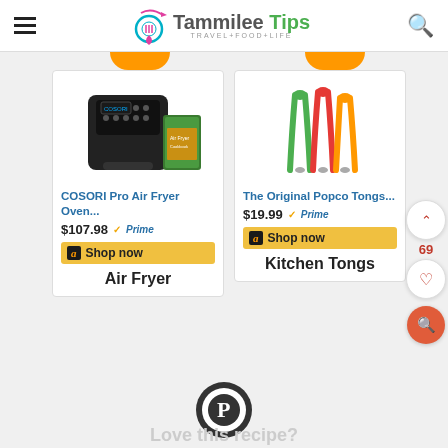Tammilee Tips — TRAVEL+FOOD+LIFE
[Figure (screenshot): COSORI Pro Air Fryer Oven product image with cookbook]
COSORI Pro Air Fryer Oven...
$107.98 Prime
Shop now
Air Fryer
[Figure (screenshot): The Original Popco Tongs product image - colorful tongs]
The Original Popco Tongs...
$19.99 Prime
Shop now
Kitchen Tongs
[Figure (logo): Pinterest logo icon]
Love this recipe?